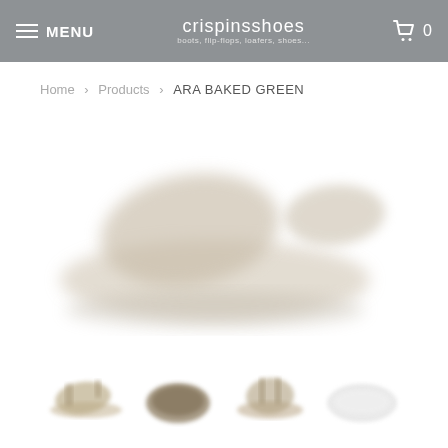MENU | crispinsshoes | 0
Home > Products > ARA BAKED GREEN
[Figure (photo): Main product photo of ARA BAKED GREEN sandals — two green/tan sandals shown from top and side view on white background, image is blurred/watermarked]
[Figure (photo): Thumbnail 1: side view of green/khaki sandal]
[Figure (photo): Thumbnail 2: bottom/sole view of sandal]
[Figure (photo): Thumbnail 3: front strap view of sandal]
[Figure (photo): Thumbnail 4: white sole/bottom view of sandal]